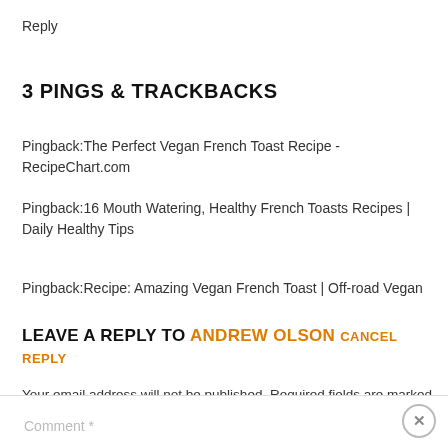Reply
3 PINGS & TRACKBACKS
Pingback:The Perfect Vegan French Toast Recipe - RecipeChart.com
Pingback:16 Mouth Watering, Healthy French Toasts Recipes | Daily Healthy Tips
Pingback:Recipe: Amazing Vegan French Toast | Off-road Vegan
LEAVE A REPLY TO ANDREW OLSON CANCEL REPLY
Your email address will not be published. Required fields are marked *
Comment *